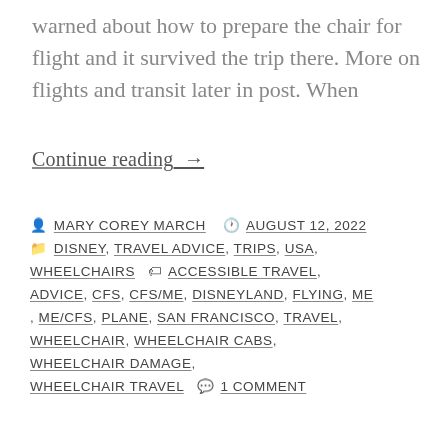warned about how to prepare the chair for flight and it survived the trip there. More on flights and transit later in post. When
Continue reading →
By MARY COREY MARCH  🕐 AUGUST 12, 2022  📁 DISNEY, TRAVEL ADVICE, TRIPS, USA, WHEELCHAIRS  🏷 ACCESSIBLE TRAVEL, ADVICE, CFS, CFS/ME, DISNEYLAND, FLYING, ME, ME/CFS, PLANE, SAN FRANCISCO, TRAVEL, WHEELCHAIR, WHEELCHAIR CABS, WHEELCHAIR DAMAGE, WHEELCHAIR TRAVEL  💬 1 COMMENT